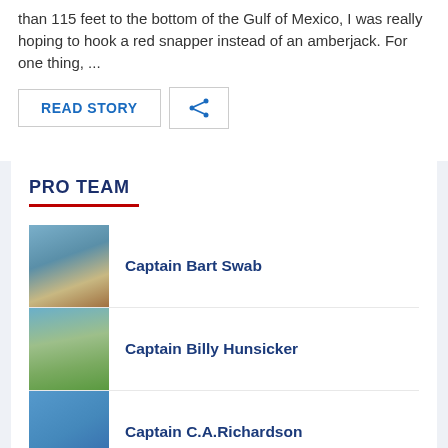[...] ... Lowering my line through more than 115 feet to the bottom of the Gulf of Mexico, I was really hoping to hook a red snapper instead of an amberjack.  For one thing, ...
READ STORY | [share button]
PRO TEAM
Captain Bart Swab
Captain Billy Hunsicker
Captain C.A.Richardson